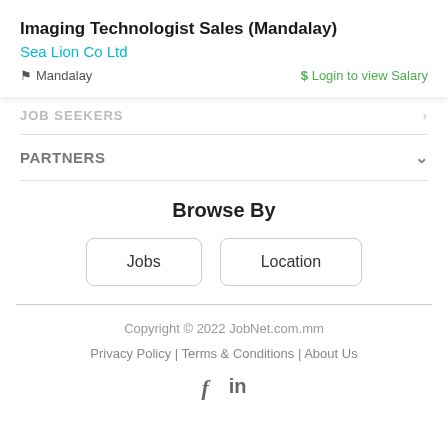Imaging Technologist Sales (Mandalay)
Sea Lion Co Ltd
Mandalay   $ Login to view Salary
JOB SEEKERS
PARTNERS
Browse By
Jobs   Location
Copyright © 2022 JobNet.com.mm
Privacy Policy | Terms & Conditions | About Us